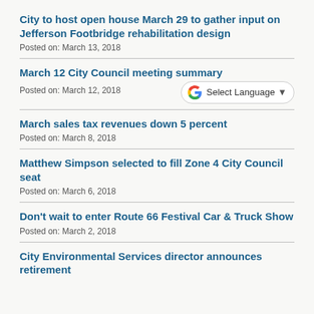City to host open house March 29 to gather input on Jefferson Footbridge rehabilitation design
Posted on: March 13, 2018
March 12 City Council meeting summary
Posted on: March 12, 2018
March sales tax revenues down 5 percent
Posted on: March 8, 2018
Matthew Simpson selected to fill Zone 4 City Council seat
Posted on: March 6, 2018
Don't wait to enter Route 66 Festival Car & Truck Show
Posted on: March 2, 2018
City Environmental Services director announces retirement